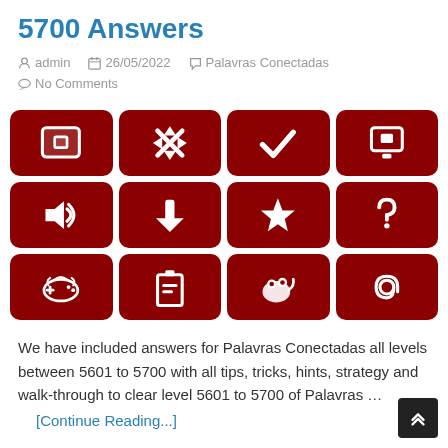5700 Answers
admin  26/05/2022  Palavras Conectadas  No Comments
[Figure (illustration): A 4x3 grid of dark red rounded square icons showing various symbols: game controller, arrows/X, checkmark, window/UI, speaker/audio, down arrow, star, question mark, gamepad, battery/document, mouse/frog, email/at symbol]
We have included answers for Palavras Conectadas all levels between 5601 to 5700 with all tips, tricks, hints, strategy and walk-through to clear level 5601 to 5700 of Palavras …
[Continue Reading...]